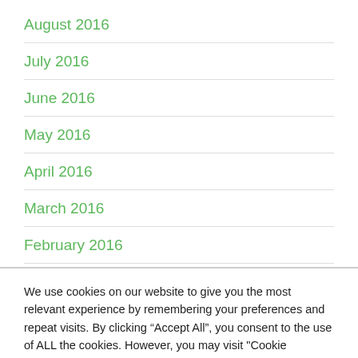August 2016
July 2016
June 2016
May 2016
April 2016
March 2016
February 2016
We use cookies on our website to give you the most relevant experience by remembering your preferences and repeat visits. By clicking “Accept All”, you consent to the use of ALL the cookies. However, you may visit "Cookie Settings" to provide a controlled consent.